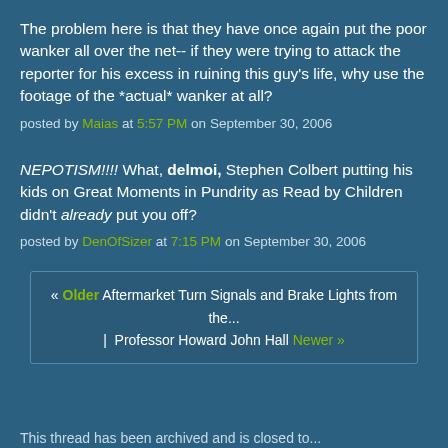The problem here is that they have once again put the poor wanker all over the net-- if they were trying to attack the reporter for his excess in ruining this guy's life, why use the footage of the *actual* wanker at all?
posted by Maias at 5:57 PM on September 30, 2006
NEPOTISM!!!! What, delmoi, Stephen Colbert putting his kids on Great Moments in Pundrity as Read by Children didn't already put you off?
posted by DenOfSizer at 7:15 PM on September 30, 2006
« Older Aftermarket Turn Signals and Brake Lights from the... | Professor Howard John Hall Newer »
This thread has been archived and is closed to...